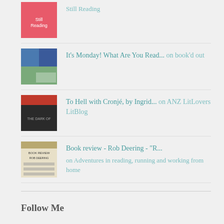Still Reading
It's Monday! What Are You Read... on book'd out
To Hell with Cronjé, by Ingrid... on ANZ LitLovers LitBlog
Book review - Rob Deering - "R... on Adventures in reading, running and working from home
Follow Me